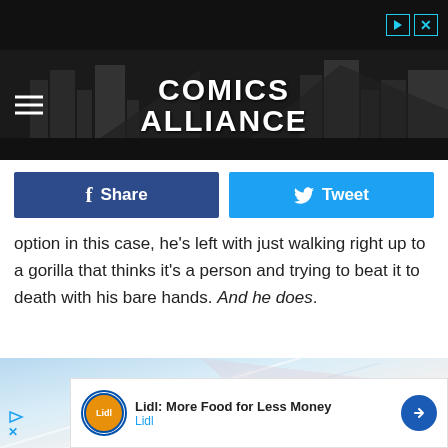[Figure (screenshot): Top black ad bar with play and close icons]
[Figure (logo): Comics Alliance header banner with logo text on dark background with city skyline silhouette]
[Figure (infographic): Facebook Share button (dark blue) and Twitter Tweet button (light blue)]
option in this case, he's left with just walking right up to a gorilla that thinks it's a person and trying to beat it to death with his bare hands. And he does.
[Figure (photo): Light colored abstract geometric background image in blues and pinks]
[Figure (infographic): Lidl advertisement: 'Lidl: More Food for Less Money' with Lidl logo and navigation arrow]